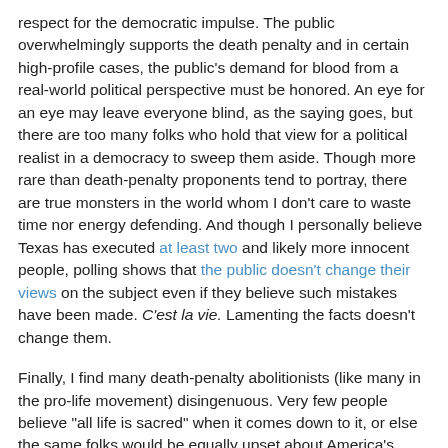respect for the democratic impulse. The public overwhelmingly supports the death penalty and in certain high-profile cases, the public's demand for blood from a real-world political perspective must be honored. An eye for an eye may leave everyone blind, as the saying goes, but there are too many folks who hold that view for a political realist in a democracy to sweep them aside. Though more rare than death-penalty proponents tend to portray, there are true monsters in the world whom I don't care to waste time nor energy defending. And though I personally believe Texas has executed at least two and likely more innocent people, polling shows that the public doesn't change their views on the subject even if they believe such mistakes have been made. C'est la vie. Lamenting the facts doesn't change them.
Finally, I find many death-penalty abolitionists (like many in the pro-life movement) disingenuous. Very few people believe "all life is sacred" when it comes down to it, or else the same folks would be equally upset about America's various volitional wars, drone strikes, etc.. For that matter, far more people die in prison because of inadequate healthcare than Texas has ever executed, but almost no one seems to